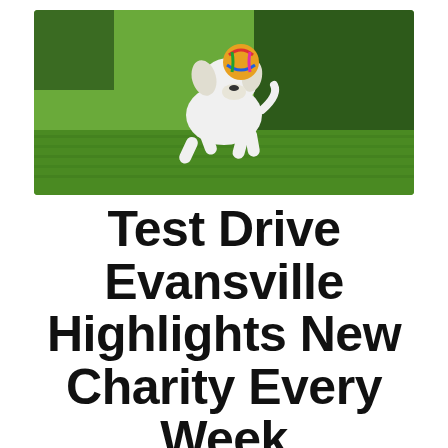[Figure (photo): White dog running on green grass carrying a colorful ball toy in its mouth, trees in background]
Test Drive Evansville Highlights New Charity Every Week
Posted on October 16, 2017 by kiaowensboro